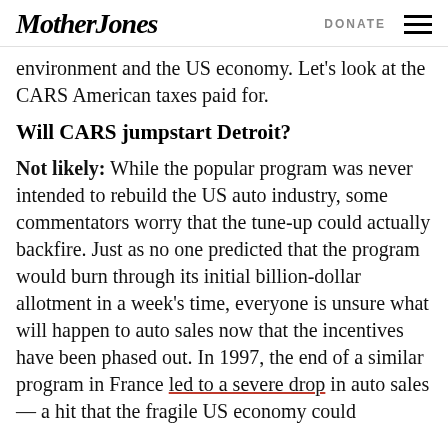Mother Jones | DONATE
environment and the US economy. Let's look at the CARS American taxes paid for.
Will CARS jumpstart Detroit?
Not likely: While the popular program was never intended to rebuild the US auto industry, some commentators worry that the tune-up could actually backfire. Just as no one predicted that the program would burn through its initial billion-dollar allotment in a week's time, everyone is unsure what will happen to auto sales now that the incentives have been phased out. In 1997, the end of a similar program in France led to a severe drop in auto sales — a hit that the fragile US economy could